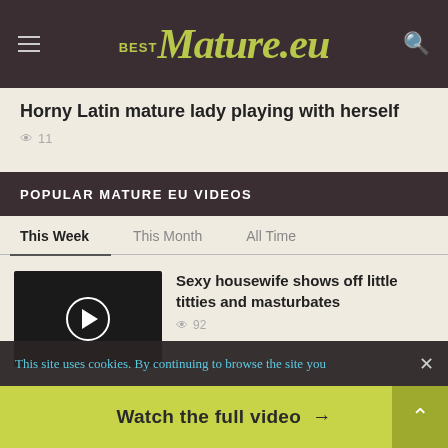BestMature.eu
Horny Latin mature lady playing with herself
👁 11
POPULAR MATURE EU VIDEOS
This Week   This Month   All Time
[Figure (screenshot): Video thumbnail with black background and white play button circle]
Sexy housewife shows off little titties and masturbates
👁 92
This site uses cookies. By continuing to browse the site you
Watch the full video →